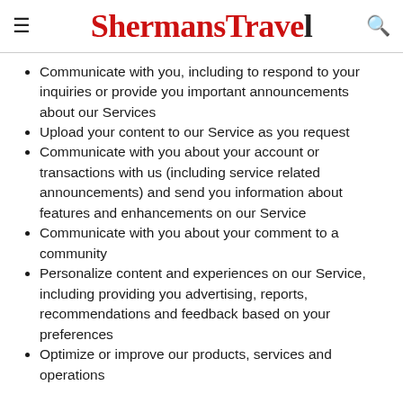ShermansTravel
Communicate with you, including to respond to your inquiries or provide you important announcements about our Services
Upload your content to our Service as you request
Communicate with you about your account or transactions with us (including service related announcements) and send you information about features and enhancements on our Service
Communicate with you about your comment to a community
Personalize content and experiences on our Service, including providing you advertising, reports, recommendations and feedback based on your preferences
Optimize or improve our products, services and operations